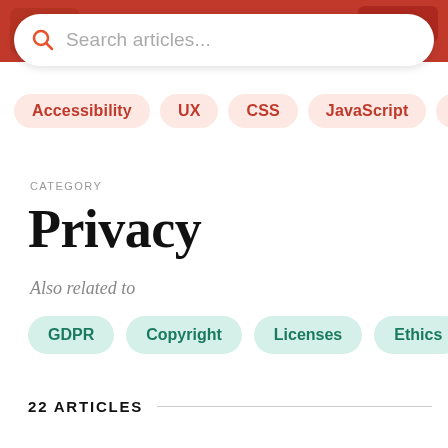[Figure (screenshot): Red header bar with logo/navigation elements]
Search articles...
Accessibility
UX
CSS
JavaScript
Perfor
CATEGORY
Privacy
Also related to
GDPR
Copyright
Licenses
Ethics
22 ARTICLES